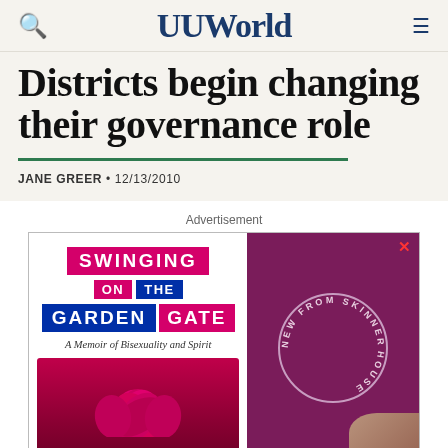UUWorld
Districts begin changing their governance role
JANE GREER • 12/13/2010
Advertisement
[Figure (illustration): Advertisement for 'Swinging on the Garden Gate: A Memoir of Bisexuality and Spirit' from Skinner House. Features stylized text with pink and blue blocks over a white background on the left, a circular badge reading 'NEW FROM SKINNER HOUSE' on a dark purple background on the right, and a pink flower at the bottom.]